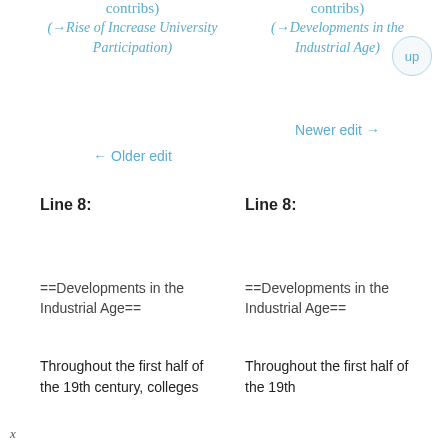contribs)
contribs)
(→Rise of Increase University Participation)
(→Developments in the Industrial Age)
Newer edit →
← Older edit
Line 8:
Line 8:
==Developments in the Industrial Age==
==Developments in the Industrial Age==
Throughout the first half of the 19th century, colleges
Throughout the first half of the 19th century, colleges